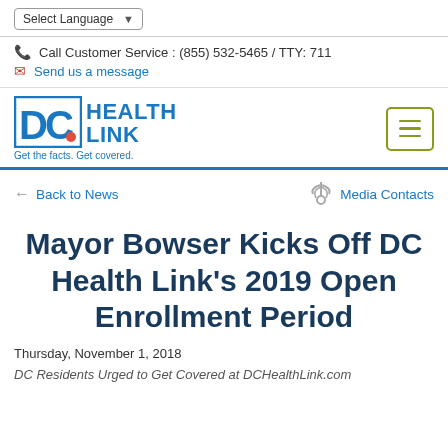Select Language
Call Customer Service : (855) 532-5465 / TTY: 711
Send us a message
[Figure (logo): DC Health Link logo with tagline 'Get the facts. Get covered.']
Back to News
Media Contacts
Mayor Bowser Kicks Off DC Health Link's 2019 Open Enrollment Period
Thursday, November 1, 2018
DC Residents Urged to Get Covered at DCHealthLink.com